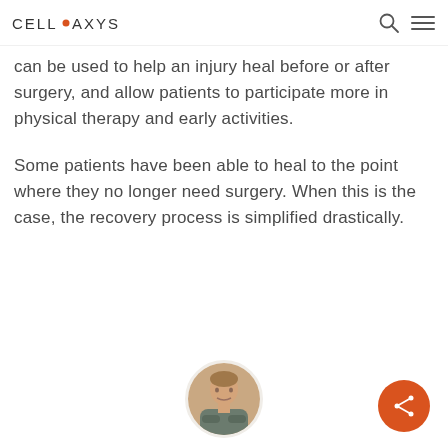CELL·AXYS
can be used to help an injury heal before or after surgery, and allow patients to participate more in physical therapy and early activities.
Some patients have been able to heal to the point where they no longer need surgery. When this is the case, the recovery process is simplified drastically.
[Figure (photo): Circular portrait photo of a man with arms crossed, wearing a grey t-shirt, in what appears to be a clinical setting.]